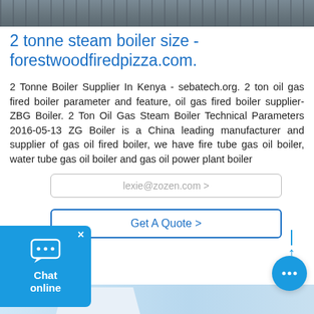[Figure (photo): Top portion of a boiler/industrial equipment photo, partially cropped]
2 tonne steam boiler size - forestwoodfiredpizza.com.
2 Tonne Boiler Supplier In Kenya - sebatech.org. 2 ton oil gas fired boiler parameter and feature, oil gas fired boiler supplier-ZBG Boiler. 2 Ton Oil Gas Steam Boiler Technical Parameters 2016-05-13 ZG Boiler is a China leading manufacturer and supplier of gas oil fired boiler, we have fire tube gas oil boiler, water tube gas oil boiler and gas oil power plant boiler
[Figure (screenshot): Email input form field showing lexie@zozen.com >]
[Figure (screenshot): Get A Quote > button]
[Figure (screenshot): Chat online widget (blue) with X close button and chat icon]
[Figure (screenshot): Scroll-to-top arrow icon on right side]
[Figure (screenshot): Blue chat bubble icon with ellipsis on right side]
[Figure (photo): Bottom portion of a building/boiler facility photo with blue sky background, partially cropped]